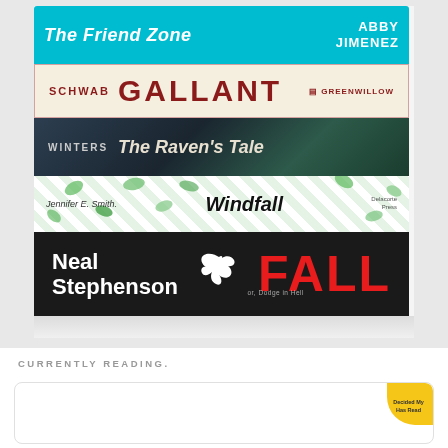[Figure (photo): A stack of five books photographed from the side showing their spines. From top to bottom: 'The Friend Zone' by Abby Jimenez (teal cover), 'Gallant' by Schwab (cream/beige cover, Greenwillow publisher), 'The Raven's Tale' by Winters (dark moody cover), 'Windfall' by Jennifer E. Smith (white cover with green leaves, Delacorte Press), and 'Fall or, Dodge in Hell' by Neal Stephenson (black cover with large red FALL text).]
CURRENTLY READING.